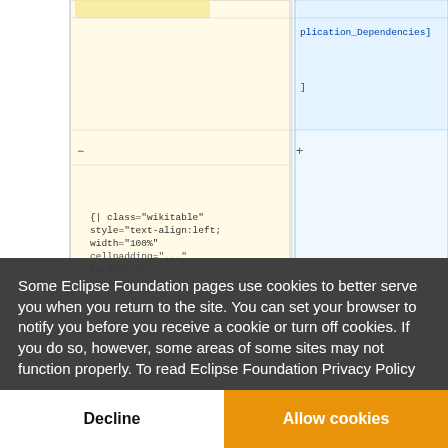[Figure (screenshot): Background showing a wiki diff editor with two panels side by side. Left panel has yellowish background with wiki markup code including {| class='wikitable' style='text-align:left; width=100%' border='1' cellpadding='...'. Right panel has blue-tinted background with text 'plication_Dependencies]' and ']'. Plus and minus markers visible at panel edges.]
Some Eclipse Foundation pages use cookies to better serve you when you return to the site. You can set your browser to notify you before you receive a cookie or turn off cookies. If you do so, however, some areas of some sites may not function properly. To read Eclipse Foundation Privacy Policy click here.
Decline
Allow cookies